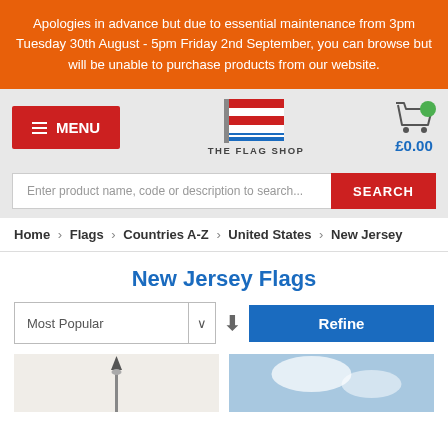Apologies in advance but due to essential maintenance from 3pm Tuesday 30th August - 5pm Friday 2nd September, you can browse but will be unable to purchase products from our website.
[Figure (logo): The Flag Shop logo with hamburger menu button and shopping cart showing £0.00]
Enter product name, code or description to search...
Home > Flags > Countries A-Z > United States > New Jersey
New Jersey Flags
Most Popular | Refine
[Figure (photo): Two product thumbnail images at the bottom of the page]